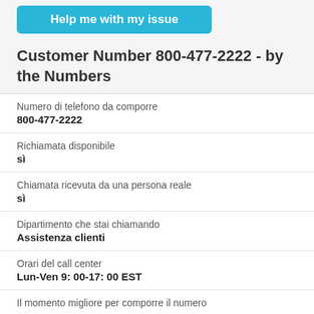[Figure (other): Blue button labeled 'Help me with my issue']
Customer Number 800-477-2222 - by the Numbers
| Numero di telefono da comporre | 800-477-2222 |
| Richiamata disponibile | sì |
| Chiamata ricevuta da una persona reale | sì |
| Dipartimento che stai chiamando | Assistenza clienti |
| Orari del call center | Lun-Ven 9: 00-17: 00 EST |
| Il momento migliore per comporre il numero |  |